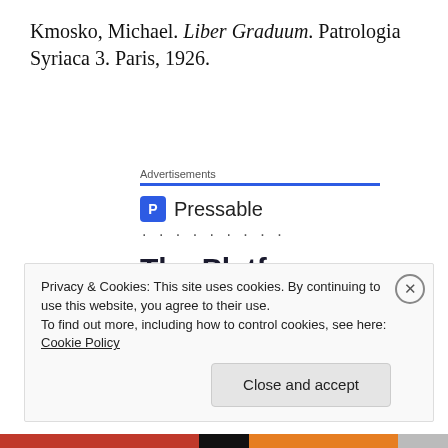Kmosko, Michael. Liber Graduum. Patrologia Syriaca 3. Paris, 1926.
[Figure (screenshot): Pressable advertisement banner showing logo, dots, and headline 'The Platform Where WordPress Works Best']
Privacy & Cookies: This site uses cookies. By continuing to use this website, you agree to their use.
To find out more, including how to control cookies, see here: Cookie Policy
Close and accept